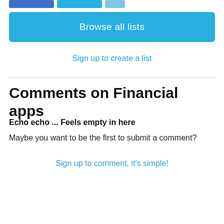[Figure (screenshot): Three partial colored buttons at the top of the page (dark blue, light blue, and small light blue)]
Browse all lists
Sign up to create a list
Comments on Financial apps
Echo echo ... Feels empty in here
Maybe you want to be the first to submit a comment?
Sign up to comment, it's simple!